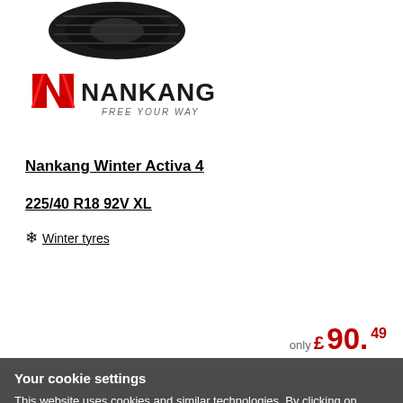[Figure (photo): Partially visible tire tread image at top of page]
[Figure (logo): Nankang logo with red N and text 'FREE YOUR WAY']
Nankang Winter Activa 4
225/40 R18 92V XL
❄ Winter tyres
only £ 90.49
Your cookie settings
This website uses cookies and similar technologies. By clicking on "Accept" you accept this processing and also the transfer of your data to third-party providers. The data is used to analyse, retarget and display personalised content and advertising on the Delticom websites and on third-party websites. Further information, including information on data processing by third-party providers, can be found in the settings and in our Data protection information. You can adjust the use of unnecessary cookies decline or at any time via your Settings.